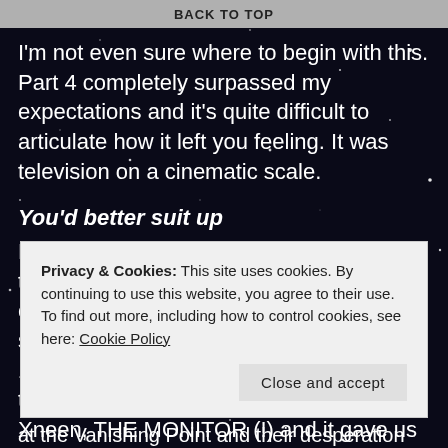BACK TO TOP
I'm not even sure where to begin with this. Part 4 completely surpassed my expectations and it's quite difficult to articulate how it left you feeling. It was television on a cinematic scale.
You'd better suit up
Right from the first scene you really feel that Crisis has cranked up a gear in its conclusion. The opening of the episode shows us Mar Novu on Planet Maltus 10,000 years ago, preparing to travel to the dawn of time, assisted by his wife, Xneen, THE MONITOR (!) and it gave us further insight and context to the origin of the whole
Privacy & Cookies: This site uses cookies. By continuing to use this website, you agree to their use.
To find out more, including how to control cookies, see here: Cookie Policy
at the Vanishing Point and their desperation and despair